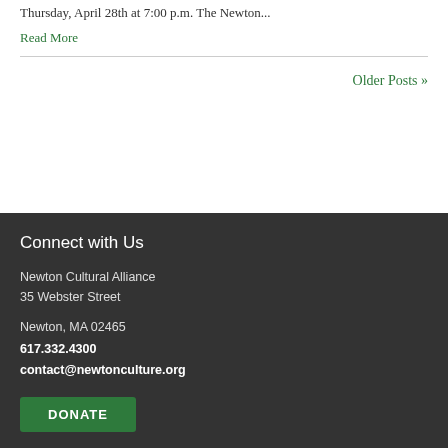Thursday, April 28th at 7:00 p.m. The Newton...
Read More
Older Posts »
Connect with Us
Newton Cultural Alliance
35 Webster Street
Newton, MA 02465
617.332.4300
contact@newtonculture.org
DONATE